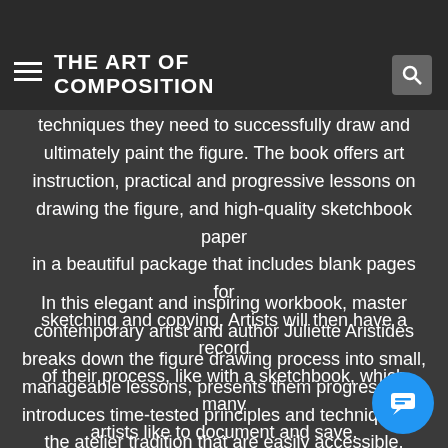THE ART OF COMPOSITION
Figure Drawing Atelier offers a comprehensive, commitment to the very traditional atelier approach and methods that instruct artists on the techniques they need to successfully draw and ultimately paint the figure. The book offers art instruction, practical and progressive lessons on drawing the figure, and high-quality sketchbook paper in a beautiful package that includes blank pages for sketching and copying. Artists will then have a record of their process, like with a sketchbook, which many artists like to document and save.
In this elegant and inspiring workbook, master contemporary artist and author Juliette Aristides breaks down the figure drawing process into small, manageable lessons, presents them progressively, introduces time-tested principles and techniques in the atelier tradition that are easily accessible, shares the language and context necessary to understand the artistic process and create success